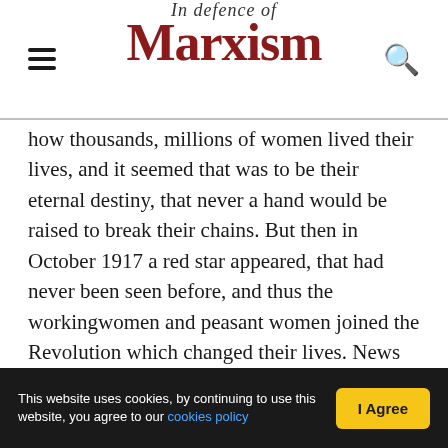In defence of Marxism
how thousands, millions of women lived their lives, and it seemed that was to be their eternal destiny, that never a hand would be raised to break their chains. But then in October 1917 a red star appeared, that had never been seen before, and thus the workingwomen and peasant women joined the Revolution which changed their lives. News of those events got to us late and in a confused and partil manner. For this news to reach us women of the East, it had to get through the walls, the iron bars and our parandjà. [Note: Long veils that cover a woman from head to toe]

"For a long time we did not believe it. The mullahs threatened us and terrorised us with celestial damnation, while our husbands, fathers and brothers did everything to stop us having any contact with the outside world. The
This website uses cookies, by continuing to use this website, you agree to our cookies policy  |  I Agree